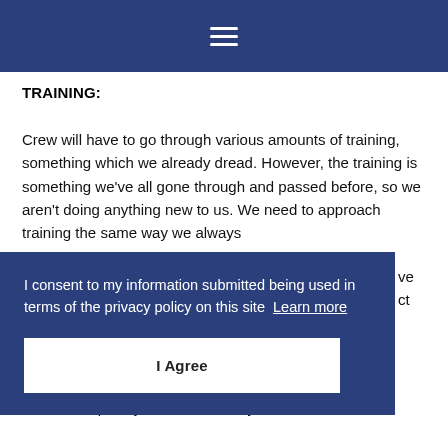☰
TRAINING:
Crew will have to go through various amounts of training, something which we already dread. However, the training is something we've all gone through and passed before, so we aren't doing anything new to us. We need to approach training the same way we always have with a positive and energetic attitude...
I consent to my information submitted being used in terms of the privacy policy on this site  Learn more
I Agree
for them to pass you.  Don't allow yourself to be in a